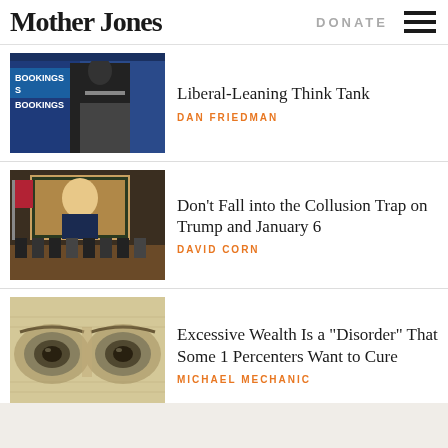Mother Jones | DONATE
Liberal-Leaning Think Tank
DAN FRIEDMAN
Don’t Fall into the Collusion Trap on Trump and January 6
DAVID CORN
Excessive Wealth Is a “Disorder” That Some 1 Percenters Want to Cure
MICHAEL MECHANIC